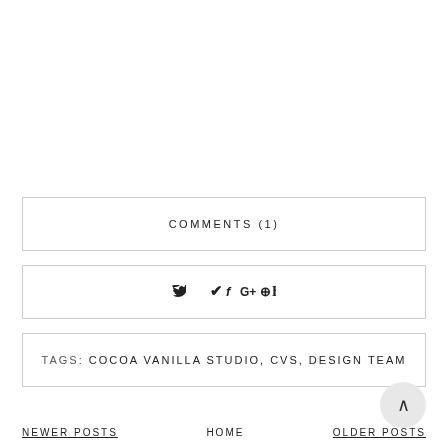COMMENTS (1)
[Figure (other): Social sharing icons: Twitter bird, Facebook f, Google+, Pinterest, Bloglovin B]
TAGS: COCOA VANILLA STUDIO, CVS, DESIGN TEAM
NEWER POSTS   HOME   OLDER POSTS